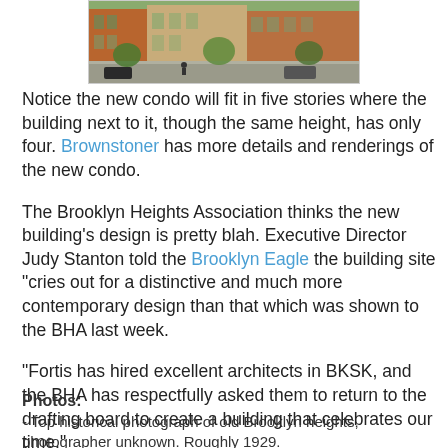[Figure (photo): Street-level photo of a urban block with brownstone buildings, trees, and cars]
Notice the new condo will fit in five stories where the building next to it, though the same height, has only four. Brownstoner has more details and renderings of the new condo.
The Brooklyn Heights Association thinks the new building’s design is pretty blah. Executive Director Judy Stanton told the Brooklyn Eagle the building site “cries out for a distinctive and much more contemporary design than that which was shown to the BHA last week.
“Fortis has hired excellent architects in BKSK, and the BHA has respectfully asked them to return to the drafting board to create a building that celebrates our time.”
Photos:
- Top historical photograph of old Brooklyn heights, photographer unknown. Roughly 1929.